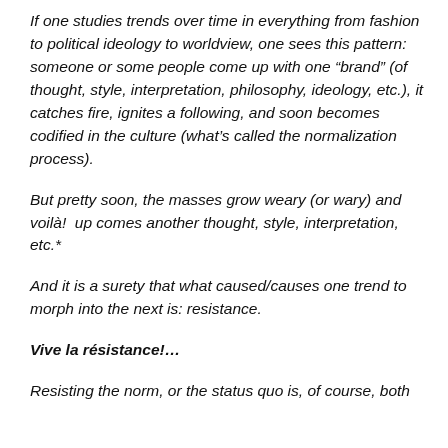If one studies trends over time in everything from fashion to political ideology to worldview, one sees this pattern: someone or some people come up with one “brand” (of thought, style, interpretation, philosophy, ideology, etc.), it catches fire, ignites a following, and soon becomes codified in the culture (what’s called the normalization process).
But pretty soon, the masses grow weary (or wary) and voilà!  up comes another thought, style, interpretation, etc.*
And it is a surety that what caused/causes one trend to morph into the next is: resistance.
Vive la résistance!…
Resisting the norm, or the status quo is, of course, both